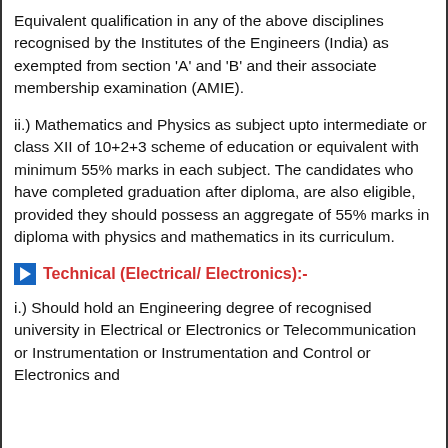Equivalent qualification in any of the above disciplines recognised by the Institutes of the Engineers (India) as exempted from section 'A' and 'B' and their associate membership examination (AMIE).
ii.) Mathematics and Physics as subject upto intermediate or class XII of 10+2+3 scheme of education or equivalent with minimum 55% marks in each subject. The candidates who have completed graduation after diploma, are also eligible, provided they should possess an aggregate of 55% marks in diploma with physics and mathematics in its curriculum.
Technical (Electrical/ Electronics):-
i.) Should hold an Engineering degree of recognised university in Electrical or Electronics or Telecommunication or Instrumentation or Instrumentation and Control or Electronics and